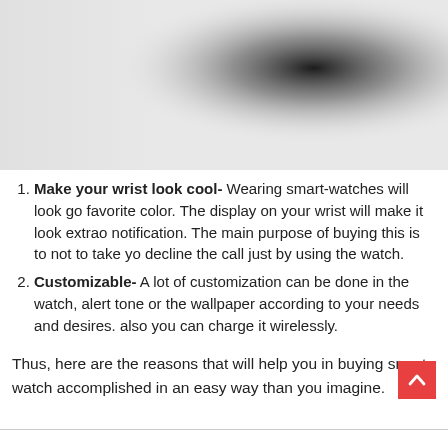[Figure (photo): Blurred image showing a gradient from light gray on the left to a dark blurred circular spot on the upper right, against a light background.]
Make your wrist look cool- Wearing smart-watches will look go... favorite color. The display on your wrist will make it look extrao... notification. The main purpose of buying this is to not to take yo... decline the call just by using the watch.
Customizable- A lot of customization can be done in the watch, ... alert tone or the wallpaper according to your needs and desires.... also you can charge it wirelessly.
Thus, here are the reasons that will help you in buying smart-watch... accomplished in an easy way than you imagine.